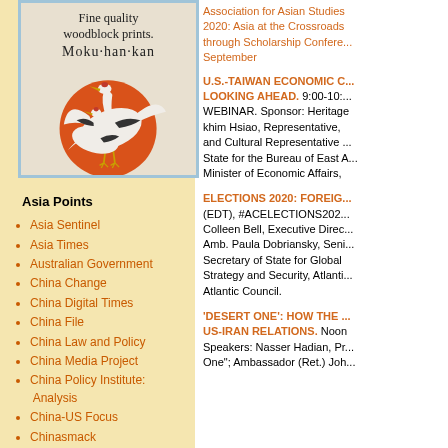[Figure (illustration): Woodblock print advertisement showing two cranes on an orange circle background, with text 'Fine quality woodblock prints. Moku·han·kan']
Asia Points
Asia Sentinel
Asia Times
Australian Government
China Change
China Digital Times
China File
China Law and Policy
China Media Project
China Policy Institute: Analysis
China-US Focus
Chinasmack
Association for Asian Studies 2020: Asia at the Crossroads through Scholarship Conference September
U.S.-TAIWAN ECONOMIC C... LOOKING AHEAD. 9:00-10:... WEBINAR. Sponsor: Heritage khim Hsiao, Representative, and Cultural Representative ... State for the Bureau of East A... Minister of Economic Affairs,
ELECTIONS 2020: FOREIG... (EDT), #ACELECTIONS2020... Colleen Bell, Executive Direc... Amb. Paula Dobriansky, Seni... Secretary of State for Global... Strategy and Security, Atlanti... Atlantic Council.
'DESERT ONE': HOW THE ... US-IRAN RELATIONS. Noon... Speakers: Nasser Hadian, Pr... One"; Ambassador (Ret.) Joh...